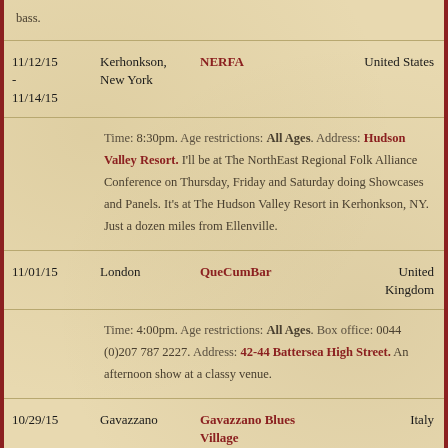Time: 8:30pm. Age restrictions: All Ages. Address: Hudson Valley Resort. I'll be at The NorthEast Regional Folk Alliance Conference on Thursday, Friday and Saturday doing Showcases and Panels. It's at The Hudson Valley Resort in Kerhonkson, NY. Just a dozen miles from Ellenville.
| Date | City | Venue | Country |
| --- | --- | --- | --- |
| 11/12/15 - 11/14/15 | Kerhonkson, New York | NERFA | United States |
| 11/01/15 | London | QueCumBar | United Kingdom |
| 10/29/15 | Gavazzano | Gavazzano Blues Village | Italy |
Time: 4:00pm. Age restrictions: All Ages. Box office: 0044 (0)207 787 2227. Address: 42-44 Battersea High Street. An afternoon show at a classy venue.
Time: 8:30pm. Age restrictions: All Ages. Address: Via Cesare